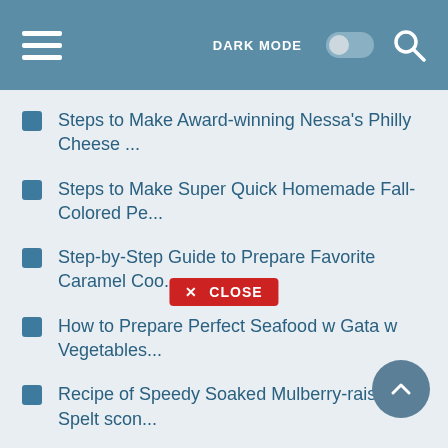DARK MODE [toggle] [search]
Steps to Make Award-winning Nessa's Philly Cheese ...
Steps to Make Super Quick Homemade Fall-Colored Pe...
Step-by-Step Guide to Prepare Favorite Caramel Coo...
How to Prepare Perfect Seafood w Gata w Vegetables...
Recipe of Speedy Soaked Mulberry-raisin Spelt scon...
Simple Way to Make Super Quick Homemade Chocolate ...
Recipe of Speedy Sophie's Espresso Martini
Steps to Make Homemade A Japanese Cuisine Standard...
Recipe of Homemade My South Carolina State Fa... ...